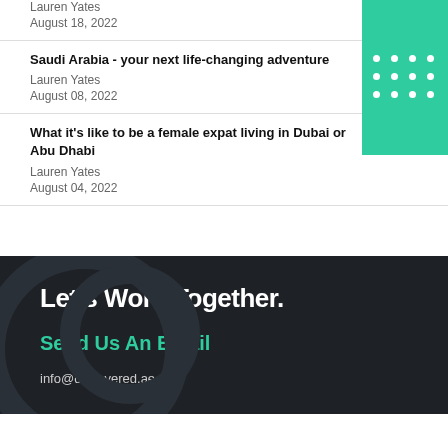Lauren Yates
August 18, 2022
Saudi Arabia - your next life-changing adventure
Lauren Yates
August 08, 2022
What it's like to be a female expat living in Dubai or Abu Dhabi
Lauren Yates
August 04, 2022
Let's Work Together.
Send Us An Email
info@discovered.ae